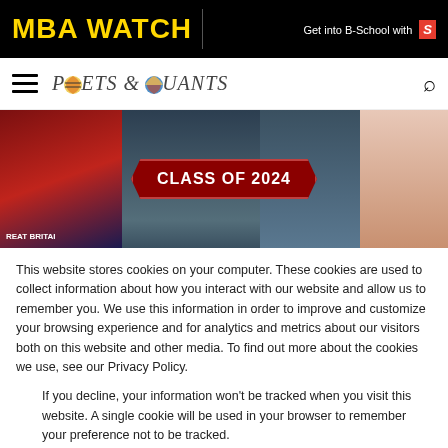MBA WATCH | Get into B-School with S
[Figure (screenshot): Poets & Quants navigation bar with hamburger menu and search icon]
[Figure (photo): Hero image collage showing students and CLASS OF 2024 badge]
This website stores cookies on your computer. These cookies are used to collect information about how you interact with our website and allow us to remember you. We use this information in order to improve and customize your browsing experience and for analytics and metrics about our visitors both on this website and other media. To find out more about the cookies we use, see our Privacy Policy.
If you decline, your information won’t be tracked when you visit this website. A single cookie will be used in your browser to remember your preference not to be tracked.
Accept | Decline